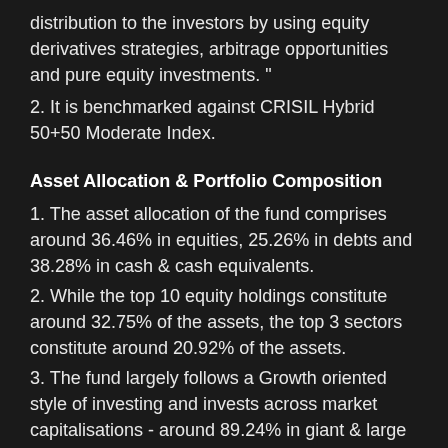distribution to the investors by using equity derivatives strategies, arbitrage opportunities and pure equity investments. "
2. It is benchmarked against CRISIL Hybrid 50+50 Moderate Index.
Asset Allocation & Portfolio Composition
1. The asset allocation of the fund comprises around 36.46% in equities, 25.26% in debts and 38.28% in cash & cash equivalents.
2. While the top 10 equity holdings constitute around 32.75% of the assets, the top 3 sectors constitute around 20.92% of the assets.
3. The fund largely follows a Growth oriented style of investing and invests across market capitalisations - around 89.24% in giant & large cap companies, 9.2% in mid